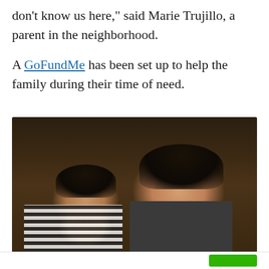don't know us here," said Marie Trujillo, a parent in the neighborhood.

A GoFundMe has been set up to help the family during their time of need.
[Figure (photo): Photo of two people posing together indoors — a younger person on the left leaning against an older man on the right, taken in a dim interior setting.]